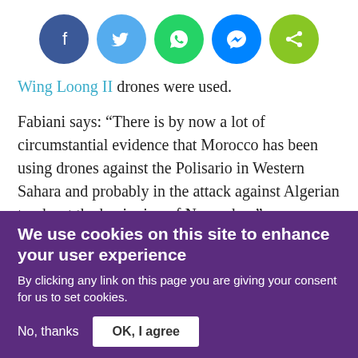[Figure (other): Row of five social media sharing buttons: Facebook (dark blue circle), Twitter (light blue circle), WhatsApp (green circle), Messenger (blue circle), Share/generic (light green circle)]
Wing Loong II drones were used.
Fabiani says: “There is by now a lot of circumstantial evidence that Morocco has been using drones against the Polisario in Western Sahara and probably in the attack against Algerian trucks at the beginning of November.”
Yet questions remain over the killing of Bendir. “There
We use cookies on this site to enhance your user experience
By clicking any link on this page you are giving your consent for us to set cookies.
No, thanks
OK, I agree